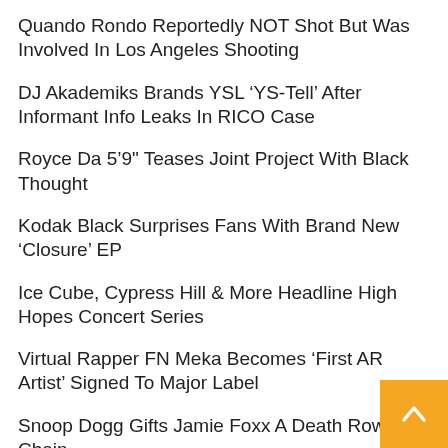Quando Rondo Reportedly NOT Shot But Was Involved In Los Angeles Shooting
DJ Akademiks Brands YSL ‘YS-Tell’ After Informant Info Leaks In RICO Case
Royce Da 5‘9" Teases Joint Project With Black Thought
Kodak Black Surprises Fans With Brand New ‘Closure’ EP
Ice Cube, Cypress Hill & More Headline High Hopes Concert Series
Virtual Rapper FN Meka Becomes ‘First AR Artist’ Signed To Major Label
Snoop Dogg Gifts Jamie Foxx A Death Row Chain
Blueface & Chrisean Rock’s Latest Altercation Results In Alleged Broken Door And Missing Hair: ‘She Tried T
DJ Drama Says 'Everybody Did Something Wrong' During